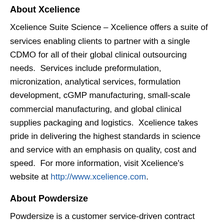About Xcelience
Xcelience Suite Science – Xcelience offers a suite of services enabling clients to partner with a single CDMO for all of their global clinical outsourcing needs. Services include preformulation, micronization, analytical services, formulation development, cGMP manufacturing, small-scale commercial manufacturing, and global clinical supplies packaging and logistics. Xcelience takes pride in delivering the highest standards in science and service with an emphasis on quality, cost and speed. For more information, visit Xcelience's website at http://www.xcelience.com.
About Powdersize
Powdersize is a customer service-driven contract manufacturer, providing expertise in particle-size reduction